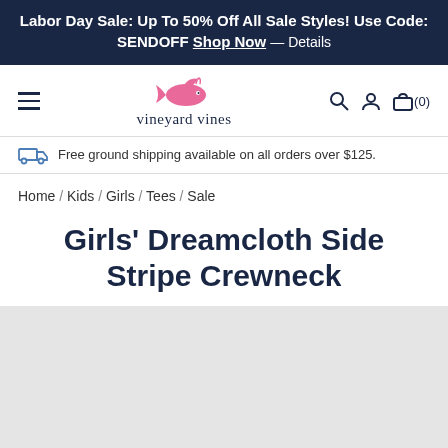Labor Day Sale: Up To 50% Off All Sale Styles! Use Code: SENDOFF Shop Now — Details
[Figure (logo): Vineyard Vines logo with pink whale and brand name text]
Free ground shipping available on all orders over $125.
Home / Kids / Girls / Tees / Sale
Girls' Dreamcloth Side Stripe Crewneck
[Figure (photo): Light gray product image area placeholder]